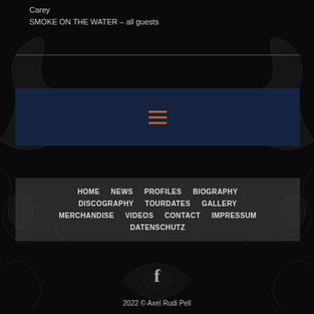Carey
SMOKE ON THE WATER – all guests
[Figure (screenshot): Dark blue hamburger menu bar with three orange horizontal lines (menu icon) centered inside]
HOME
NEWS
PROFILES
BIOGRAPHY
DISCOGRAPHY
TOURDATES
GALLERY
MERCHANDISE
VIDEOS
CONTACT
IMPRESSUM
DATENSCHUTZ
[Figure (logo): Facebook 'f' logo icon in grey/white]
2022 © Axel Rudi Pell